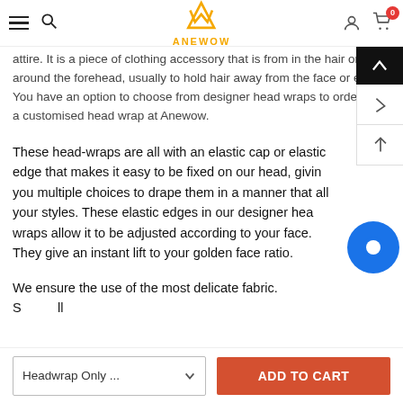ANEWOW — navigation header with hamburger menu, search, logo, user icon, cart (0)
attire. It is a piece of clothing accessory that is from in the hair or around the forehead, usually to hold hair away from the face or eyes. You have an option to choose from designer head wraps to ordering a customised head wrap at Anewow.
These head-wraps are all with an elastic cap or elastic edge that makes it easy to be fixed on our head, giving you multiple choices to drape them in a manner that all your styles. These elastic edges in our designer head wraps allow it to be adjusted according to your face. They give an instant lift to your golden face ratio.
We ensure the use of the most delicate fabric. S...ll
Headwrap Only ...  |  ADD TO CART